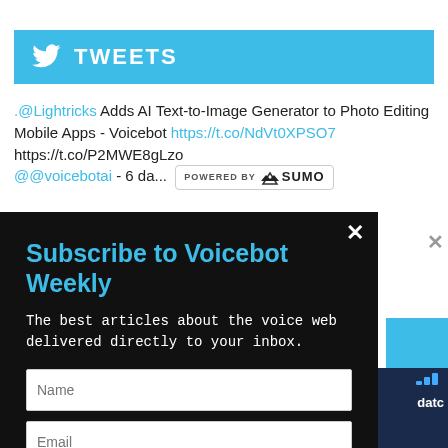TWEETS
.@Lightricks Adds AI Text-to-Image Generator to Photo Editing Mobile Apps - Voicebot https://t.co/NdVt0XPSO7 https://t.co/P2MWE8gLzo @@voicebotai - 6 da... POWERED BY SUMO
[Figure (screenshot): Subscribe to Voicebot Weekly popup overlay with Name and Email fields and a SUBSCRIBE button on dark background]
Subscribe to Voicebot Weekly
The best articles about the voice web delivered directly to your inbox.